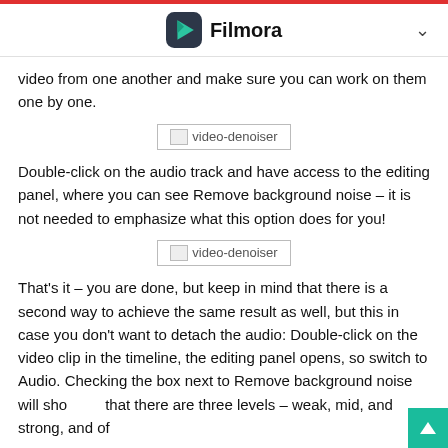Filmora
video from one another and make sure you can work on them one by one.
[Figure (screenshot): Placeholder image labeled 'video-denoiser']
Double-click on the audio track and have access to the editing panel, where you can see Remove background noise – it is not needed to emphasize what this option does for you!
[Figure (screenshot): Placeholder image labeled 'video-denoiser']
That's it – you are done, but keep in mind that there is a second way to achieve the same result as well, but this in case you don't want to detach the audio: Double-click on the video clip in the timeline, the editing panel opens, so switch to Audio. Checking the box next to Remove background noise will show that there are three levels – weak, mid, and strong, and of